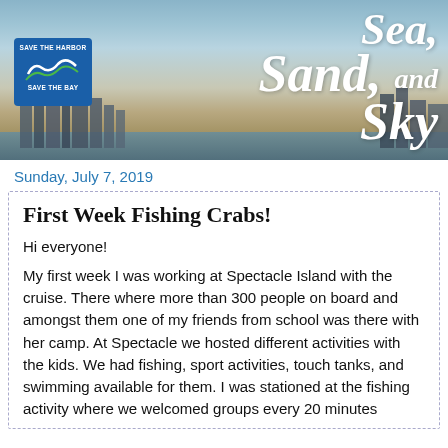[Figure (photo): Header banner image with Boston skyline at dusk, Save the Harbor Save the Bay logo on the left, and stylized italic text reading 'Sea, Sand, and Sky' on the right]
Sunday, July 7, 2019
First Week Fishing Crabs!
Hi everyone!
My first week I was working at Spectacle Island with the cruise. There where more than 300 people on board and amongst them one of my friends from school was there with her camp. At Spectacle we hosted different activities with the kids. We had fishing, sport activities, touch tanks, and swimming available for them. I was stationed at the fishing activity where we welcomed groups every 20 minutes